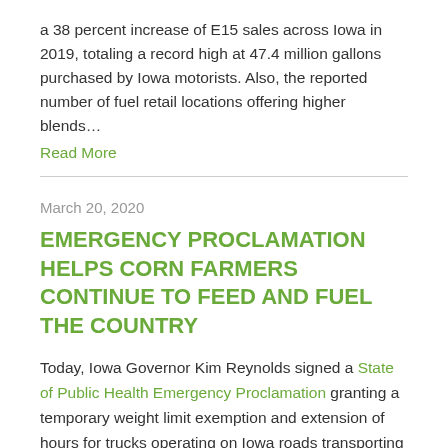a 38 percent increase of E15 sales across Iowa in 2019, totaling a record high at 47.4 million gallons purchased by Iowa motorists. Also, the reported number of fuel retail locations offering higher blends…
Read More
March 20, 2020
EMERGENCY PROCLAMATION HELPS CORN FARMERS CONTINUE TO FEED AND FUEL THE COUNTRY
Today, Iowa Governor Kim Reynolds signed a State of Public Health Emergency Proclamation granting a temporary weight limit exemption and extension of hours for trucks operating on Iowa roads transporting corn and "agricultural supplies and commodities, including but not limited to, livestock, raw milk and crop supplies," during